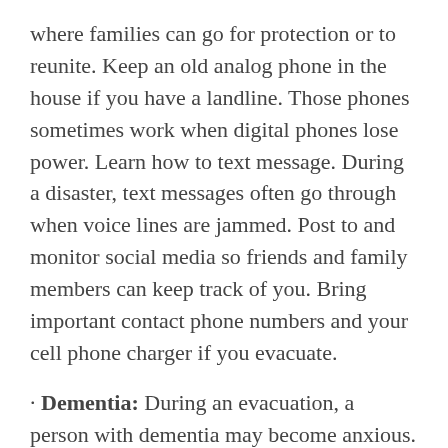where families can go for protection or to reunite. Keep an old analog phone in the house if you have a landline. Those phones sometimes work when digital phones lose power. Learn how to text message. During a disaster, text messages often go through when voice lines are jammed. Post to and monitor social media so friends and family members can keep track of you. Bring important contact phone numbers and your cell phone charger if you evacuate.
· Dementia: During an evacuation, a person with dementia may become anxious. The National Institute on Aging offers this advice: Remain as calm and supportive as possible. He or she is likely to respond to the tone you set. Be sensitive to his or her emotions. Stay close, offer your hand, or give the person a reassuring hug. Do not leave him